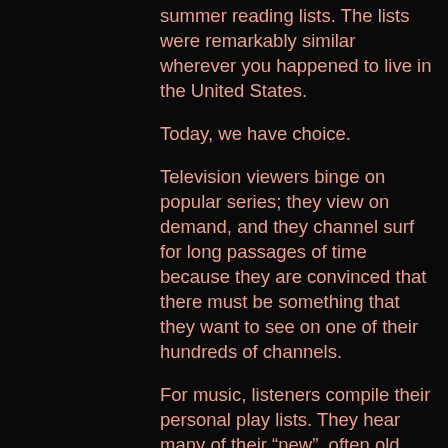summer reading lists. The lists were remarkably similar wherever you happened to live in the United States.
Today, we have choice.
Television viewers binge on popular series; they view on demand, and they channel surf for long passages of time because they are convinced that there must be something that they want to see on one of their hundreds of channels.
For music, listeners compile their personal play lists. They hear many of their “new”, often old, tunes on Spotify or some other music archive. Young people share their music with friends because their choice of music is at the